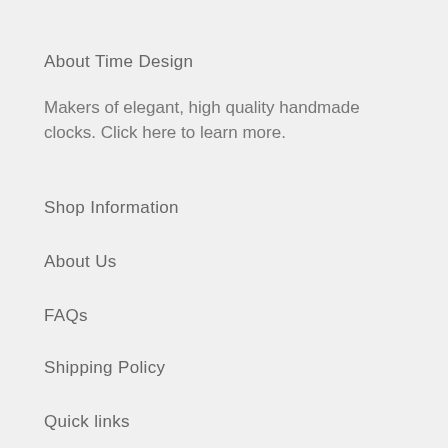About Time Design
Makers of elegant, high quality handmade clocks. Click here to learn more.
Shop Information
About Us
FAQs
Shipping Policy
Quick links